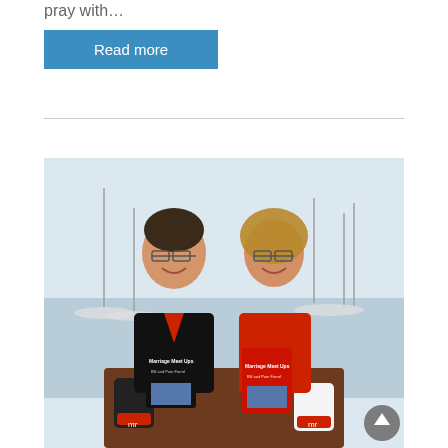pray with...
Read more
[Figure (photo): A smiling couple seated at a marina/harbor restaurant table holding books titled 'Marriage Meet Ups' by Bill and Pam Farrel. The man wears a black and red shirt, the woman wears a red sleeveless top. Sailboats are visible in the background. Two mugs with 'mr' logo are on the table. A circular scroll-to-top button is visible in the lower right.]